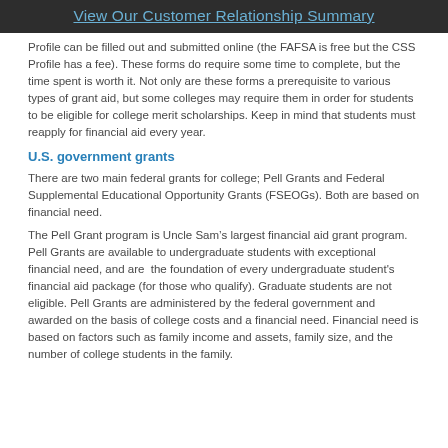View Our Customer Relationship Summary
Profile can be filled out and submitted online (the FAFSA is free but the CSS Profile has a fee). These forms do require some time to complete, but the time spent is worth it. Not only are these forms a prerequisite to various types of grant aid, but some colleges may require them in order for students to be eligible for college merit scholarships. Keep in mind that students must reapply for financial aid every year.
U.S. government grants
There are two main federal grants for college; Pell Grants and Federal Supplemental Educational Opportunity Grants (FSEOGs). Both are based on financial need.
The Pell Grant program is Uncle Sam’s largest financial aid grant program. Pell Grants are available to undergraduate students with exceptional financial need, and are  the foundation of every undergraduate student's financial aid package (for those who qualify). Graduate students are not eligible. Pell Grants are administered by the federal government and awarded on the basis of college costs and a financial need. Financial need is based on factors such as family income and assets, family size, and the number of college students in the family.